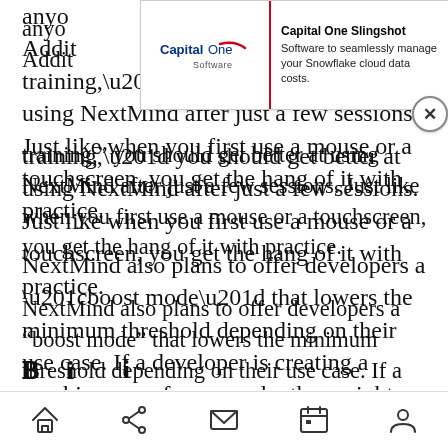[Figure (screenshot): Capital One Slingshot advertisement banner overlay with logo on left and text on right: 'Capital One Slingshot - Software to seamlessly manage your Snowflake cloud data costs.' with a close button.]
training,” you should get better at using NextMind after just a few sessions. Just like when you first use a mouse or a touchscreen, you get the hang of it with practice.
NextMind also plans to offer developers a “boost mode” that lowers the minimum threshold depending on their use case. If a developer is creating a zombie game, for example, they might want to make it easier for the player to shoot as quickly as possible when they focus their targets.
Navigation bar with home, share, mail, calendar, and profile icons